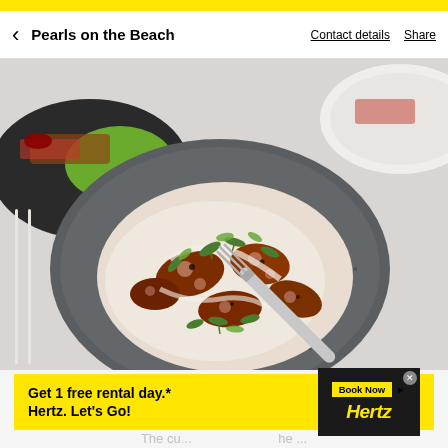Pearls on the Beach | Contact details | Share
[Figure (photo): Restaurant food photo showing a dark speckled ceramic bowl containing cooked octopus with greens/microgreens and cream sauce, with a silver fork resting in the bowl. Background shows chopsticks, a dark plate with green sauce, and a white plate.]
[Figure (infographic): Hertz advertisement banner: 'Get 1 free rental day.* Hertz. Let’s Go!' with a 'Book Now' button and Hertz logo on dark background, close button top right.]
The cu... he ...